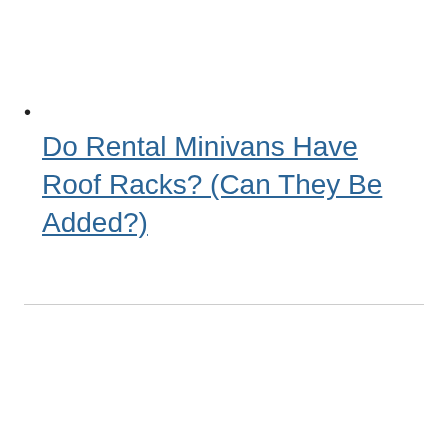•
Do Rental Minivans Have Roof Racks? (Can They Be Added?)